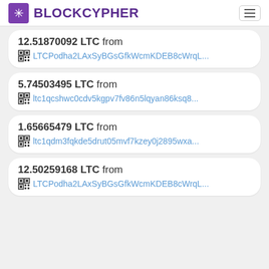BLOCKCYPHER
12.51870092 LTC from LTCPodha2LAxSyBGsGfkWcmKDEB8cWrqL...
5.74503495 LTC from ltc1qcshwc0cdv5kgpv7fv86n5lqyan86ksq8...
1.65665479 LTC from ltc1qdm3fqkde5drut05mvf7kzey0j2895wxa...
12.50259168 LTC from LTCPodha2LAxSyBGsGfkWcmKDEB8cWrqL...